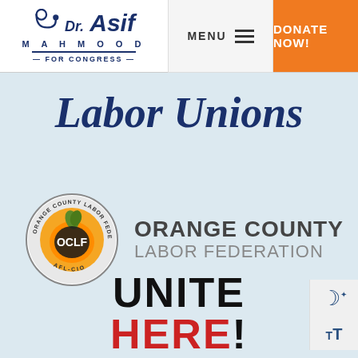[Figure (logo): Dr. Asif Mahmood for Congress campaign logo with stethoscope icon, blue bold text 'Dr. Asif', 'MAHMOOD', horizontal bar, 'FOR CONGRESS']
MENU
DONATE NOW!
Labor Unions
[Figure (logo): Orange County Labor Federation (OCLF) AFL-CIO circular badge logo with orange and text, alongside bold text 'ORANGE COUNTY LABOR FEDERATION']
[Figure (logo): UNITE HERE! logo with black bold 'UNITE' and red bold 'HERE!' text]